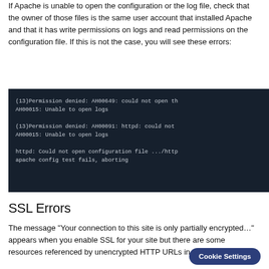If Apache is unable to open the configuration or the log file, check that the owner of those files is the same user account that installed Apache and that it has write permissions on logs and read permissions on the configuration file. If this is not the case, you will see these errors:
[Figure (screenshot): Dark terminal/code block showing Apache permission denied error messages: (13)Permission denied: AH00649: could not open th... / AH00015: Unable to open logs / (13)Permission denied: AH00091: httpd: could not... / AH00015: Unable to open logs / httpd: Could not open configuration file .../http... / apache config test fails, aborting]
SSL Errors
The message "Your connection to this site is only partially encrypted…" appears when you enable SSL for your site but there are some resources referenced by unencrypted HTTP URLs in your page.